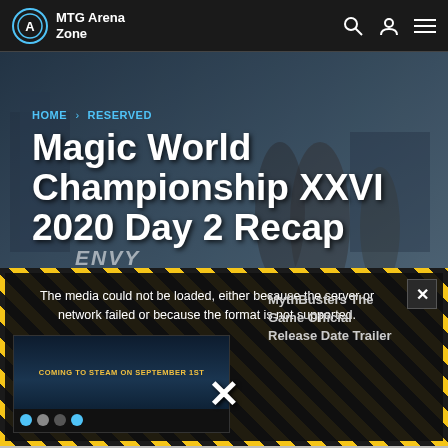MTG Arena Zone
HOME > RESERVED
Magic World Championship XXVI 2020 Day 2 Recap
[Figure (screenshot): Video player error overlay with hazard stripe border showing: 'The media could not be loaded, either because the server or network failed or because the format is not supported.' with a video thumbnail showing 'COMING TO STEAM ON SEPTEMBER 1ST' and sidebar text 'MythBusters The Game Official Release Date Trailer'. A large X close button and small X close button are visible.]
The media could not be loaded, either because the server or network failed or because the format is not supported.
MythBusters The Game Official Release Date Trailer